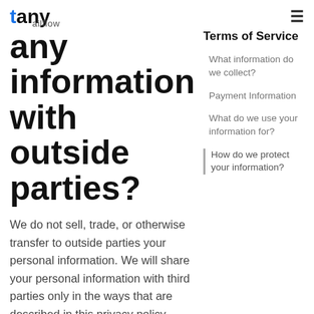tany | Tailflow
any information with outside parties?
We do not sell, trade, or otherwise transfer to outside parties your personal information. We will share your personal information with third parties only in the ways that are described in this privacy policy. However, non-personally identifiable visitor information may be provided to other parties for marketing
Terms of Service
What information do we collect?
Payment Information
What do we use your information for?
How do we protect your information?